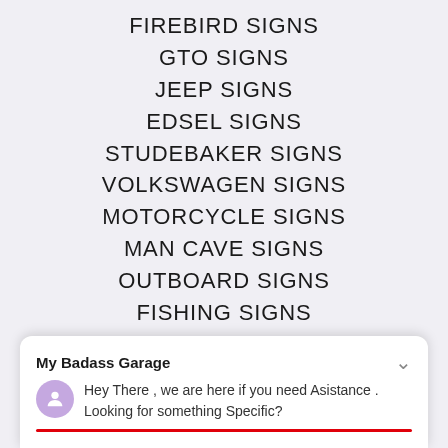FIREBIRD SIGNS
GTO SIGNS
JEEP SIGNS
EDSEL SIGNS
STUDEBAKER SIGNS
VOLKSWAGEN SIGNS
MOTORCYCLE SIGNS
MAN CAVE SIGNS
OUTBOARD SIGNS
FISHING SIGNS
SNOWMOBILE SIGNS
REDNECK SIGNS
My Badass Garage
Hey There , we are here if you need Asistance . Looking for something Specific?